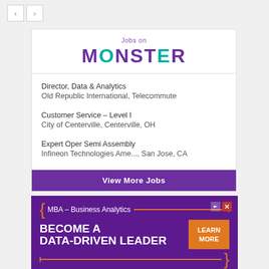[Figure (screenshot): Navigation previous/next arrow buttons]
Jobs on MONSTER
Director, Data & Analytics
Old Republic International, Telecommute
Customer Service – Level I
City of Centerville, Centerville, OH
Expert Oper Semi Assembly
Infineon Technologies Ame..., San Jose, CA
View More Jobs
[Figure (screenshot): High Point University advertisement: MBA – Business Analytics, BECOME A DATA-DRIVEN LEADER, LEARN MORE button]